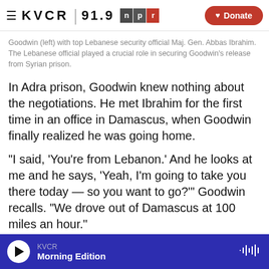≡ KVCR 91.9 npr Donate
Goodwin (left) with top Lebanese security official Maj. Gen. Abbas Ibrahim. The Lebanese official played a crucial role in securing Goodwin's release from Syrian prison.
In Adra prison, Goodwin knew nothing about the negotiations. He met Ibrahim for the first time in an office in Damascus, when Goodwin finally realized he was going home.
"I said, 'You're from Lebanon.' And he looks at me and he says, 'Yeah, I'm going to take you there today — so you want to go?'" Goodwin recalls. "We drove out of Damascus at 100 miles an hour."
KVCR Morning Edition